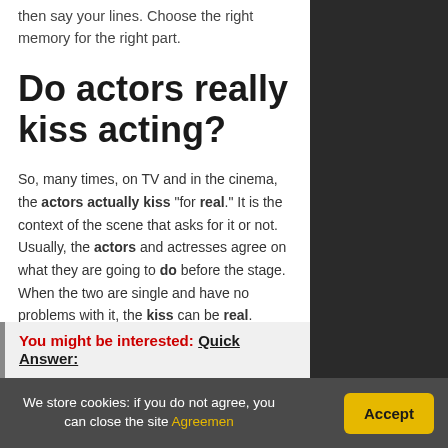then say your lines. Choose the right memory for the right part.
Do actors really kiss acting?
So, many times, on TV and in the cinema, the actors actually kiss “for real.” It is the context of the scene that asks for it or not. Usually, the actors and actresses agree on what they are going to do before the stage. When the two are single and have no problems with it, the kiss can be real.
You might be interested: Quick Answer:
We store cookies: if you do not agree, you can close the site Agreemen